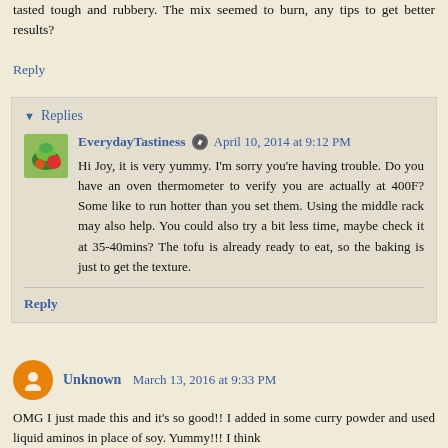tasted tough and rubbery. The mix seemed to burn, any tips to get better results?
Reply
Replies
EverydayTastiness  April 10, 2014 at 9:12 PM
Hi Joy, it is very yummy. I'm sorry you're having trouble. Do you have an oven thermometer to verify you are actually at 400F? Some like to run hotter than you set them. Using the middle rack may also help. You could also try a bit less time, maybe check it at 35-40mins? The tofu is already ready to eat, so the baking is just to get the texture.
Reply
Unknown  March 13, 2016 at 9:33 PM
OMG I just made this and it's so good!! I added in some curry powder and used liquid aminos in place of soy. Yummy!!! I think